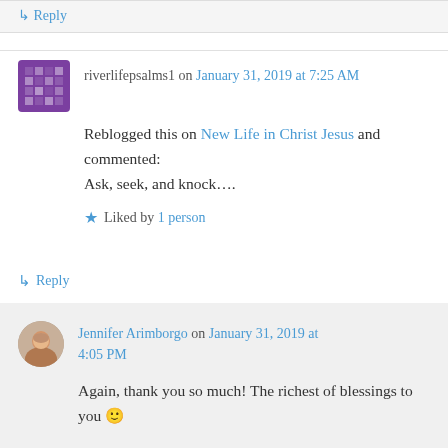↳ Reply
riverlifepsalms1 on January 31, 2019 at 7:25 AM
Reblogged this on New Life in Christ Jesus and commented:
Ask, seek, and knock….
★ Liked by 1 person
↳ Reply
Jennifer Arimborgo on January 31, 2019 at 4:05 PM
Again, thank you so much! The richest of blessings to you 🙂